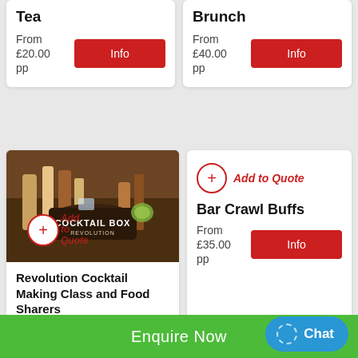Tea
From £20.00 pp
Brunch
From £40.00 pp
[Figure (photo): Cocktail box and food sharers on a wooden tray with bottles and garnishes, Revolution Cocktail Box branded]
Revolution Cocktail Making Class and Food Sharers
Add to Quote
Add to Quote
Bar Crawl Buffs
From £35.00 pp
Enquire Now
Chat